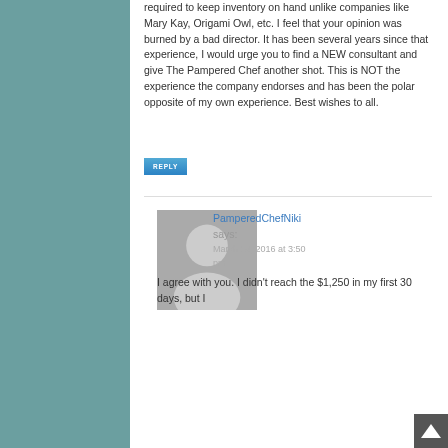required to keep inventory on hand unlike companies like Mary Kay, Origami Owl, etc. I feel that your opinion was burned by a bad director. It has been several years since that experience, I would urge you to find a NEW consultant and give The Pampered Chef another shot. This is NOT the experience the company endorses and has been the polar opposite of my own experience. Best wishes to all.
REPLY
PamperedChefNiki
says:
March 14, 2016 at 3:50 pm
I agree with you. I didn't reach the $1,250 in my first 30 days, but I